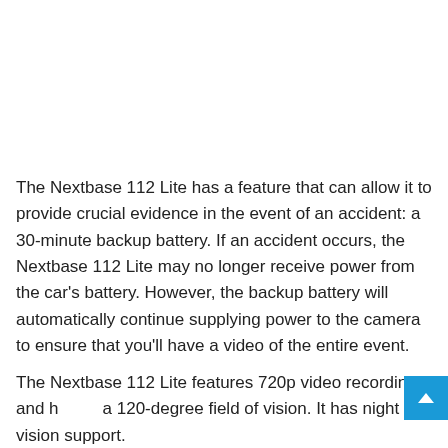The Nextbase 112 Lite has a feature that can allow it to provide crucial evidence in the event of an accident: a 30-minute backup battery. If an accident occurs, the Nextbase 112 Lite may no longer receive power from the car's battery. However, the backup battery will automatically continue supplying power to the camera to ensure that you'll have a video of the entire event.
The Nextbase 112 Lite features 720p video recording and has a 120-degree field of vision. It has night vision support.